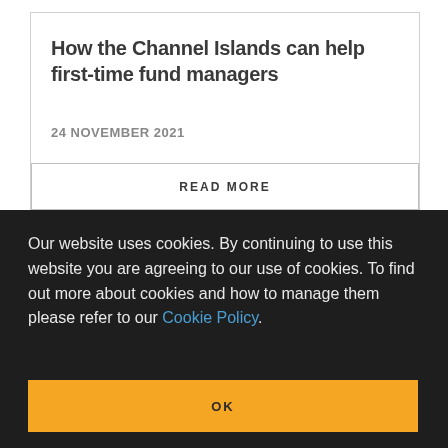How the Channel Islands can help first-time fund managers
24 NOVEMBER 2021
READ MORE
Our website uses cookies. By continuing to use this website you are agreeing to our use of cookies. To find out more about cookies and how to manage them please refer to our Cookie Policy.
OK